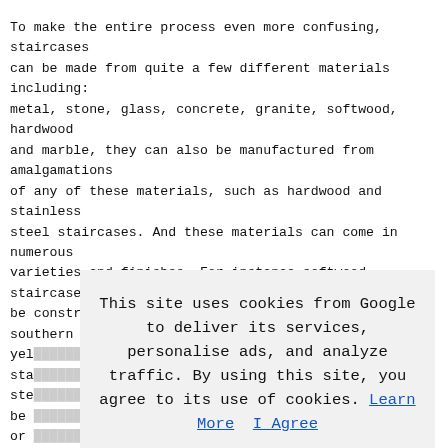To make the entire process even more confusing, staircases can be made from quite a few different materials including: metal, stone, glass, concrete, granite, softwood, hardwood and marble, they can also be manufactured from amalgamations of any of these materials, such as hardwood and stainless steel staircases. And these materials can come in numerous varieties and finishes. For instance softwood staircases may be constructed from Scandinavian pine, parana pine, southern yel... sta... ste... be ... or ... Safety: awa... bui... som... int... her... M2 ... Sco... Ire... pretty much the same aside from a few variations concerning
This site uses cookies from Google to deliver its services, personalise ads, and analyze traffic. By using this site, you agree to its use of cookies. Learn More   I Agree